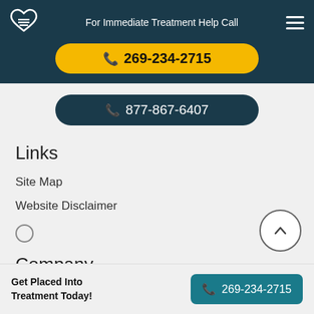For Immediate Treatment Help Call
269-234-2715
877-867-6407
Links
Site Map
Website Disclaimer
Company
Get Placed Into Treatment Today! 269-234-2715